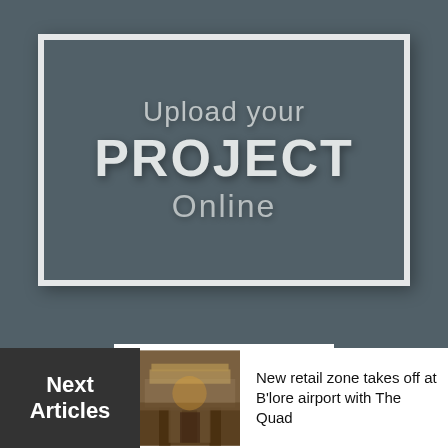[Figure (infographic): Dark teal/slate banner with inner white-bordered frame containing text: 'Upload your PROJECT Online']
Next Articles
[Figure (photo): Thumbnail image of a retail/restaurant outdoor structure lit at dusk]
New retail zone takes off at B'lore airport with The Quad